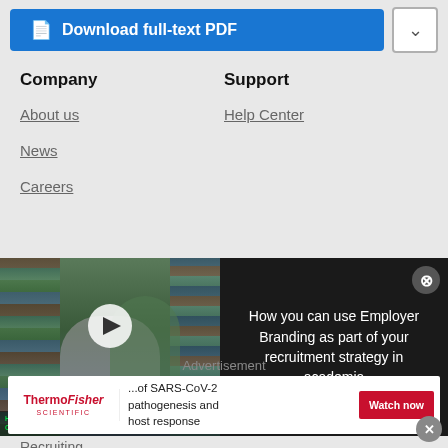[Figure (screenshot): Download full-text PDF button (blue) with dropdown arrow button beside it]
Company
Support
About us
Help Center
News
Careers
[Figure (screenshot): Video thumbnail showing students in a library with overlay text 'HOW YOU CAN USE EMPLOYER BRANDING AS PART OF YOUR RECRUITMENT STRATEGY IN ACADEMIA' and play button, adjacent to dark panel with text 'How you can use Employer Branding as part of your recruitment strategy in academia' and close button]
Recruiting
Advertisement
[Figure (screenshot): Thermo Fisher Scientific advertisement banner with text '...of SARS-CoV-2 pathogenesis and host response' and 'Watch now' button]